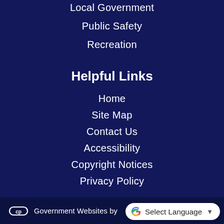Local Government
Public Safety
Recreation
Helpful Links
Home
Site Map
Contact Us
Accessibility
Copyright Notices
Privacy Policy
Government Websites by